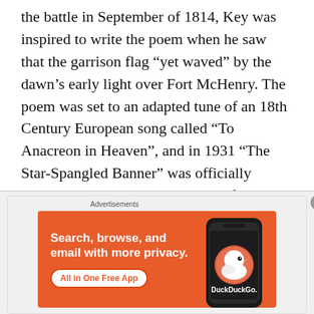the battle in September of 1814, Key was inspired to write the poem when he saw that the garrison flag “yet waved” by the dawn’s early light over Fort McHenry. The poem was set to an adapted tune of an 18th Century European song called “To Anacreon in Heaven”, and in 1931 “The Star-Spangled Banner” was officially adopted as the National Anthem of the United States. Did you know that the original title of Key’s poem was “The Defense of Fort McHenry”?
[Figure (other): DuckDuckGo advertisement banner with orange background showing 'Search, browse, and email with more privacy. All in One Free App' text and a smartphone displaying the DuckDuckGo app icon.]